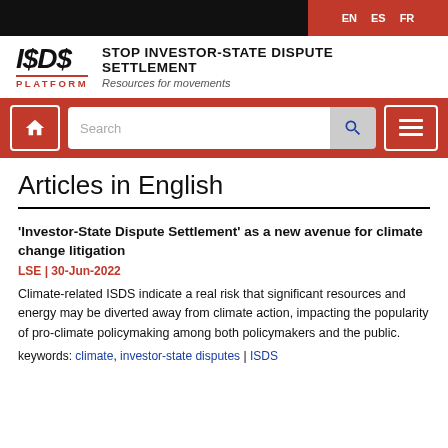EN  ES  FR
[Figure (logo): ISDS Platform logo with stylized I$D$ text and 'STOP INVESTOR-STATE DISPUTE SETTLEMENT – Resources for movements' text]
[Figure (screenshot): Navigation bar with home button, search box, and menu button on red background]
Articles in English
'Investor-State Dispute Settlement' as a new avenue for climate change litigation
LSE | 30-Jun-2022
Climate-related ISDS indicate a real risk that significant resources and energy may be diverted away from climate action, impacting the popularity of pro-climate policymaking among both policymakers and the public.
keywords: climate, investor-state disputes | ISDS